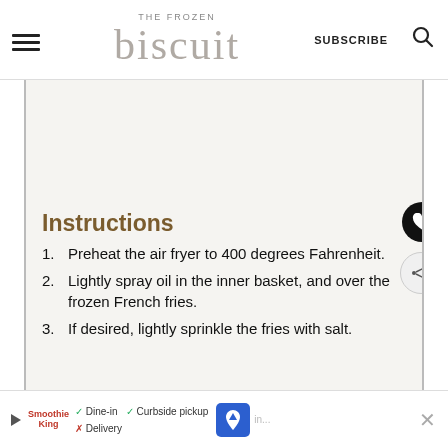THE FROZEN biscuit   SUBSCRIBE
[Figure (other): Blank/image placeholder area within bordered content region]
Instructions
Preheat the air fryer to 400 degrees Fahrenheit.
Lightly spray oil in the inner basket, and over the frozen French fries.
If desired, lightly sprinkle the fries with salt.
Ad: Smoothie King — Dine-in ✓  Curbside pickup ✓  Delivery ✗